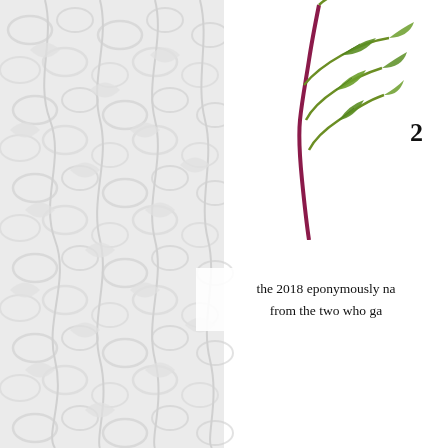[Figure (illustration): Gray and white decorative botanical vine/leaf pattern background on the left half of the page]
[Figure (illustration): Botanical watercolor illustration of a plant with green leaves and reddish-purple stem, upper right area]
2
the 2018 eponymously na from the two who ga
[Figure (illustration): Four botanical illustration cards arranged in a 2x2 grid in the lower right: Big Currant, Boneberry (top row), Wood Sorrel, Nettle (bottom row)]